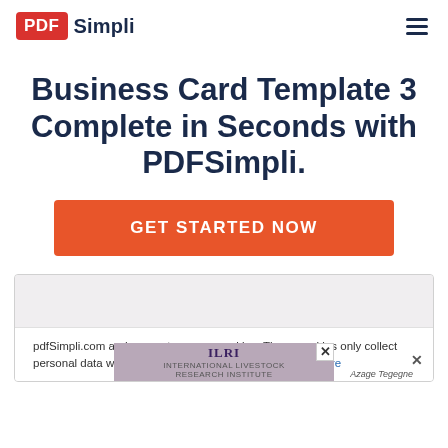PDF Simpli
Business Card Template 3 Complete in Seconds with PDFSimpli.
GET STARTED NOW
[Figure (screenshot): Preview area showing a business card template partially visible, with a cookie consent bar at the bottom and an ILRI advertisement strip]
pdfSimpli.com and our partners use cookies. These cookies only collect personal data when you opt in to the PDF editor. Learn more